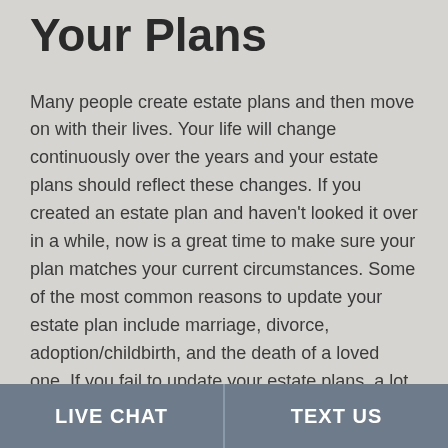Your Plans
Many people create estate plans and then move on with their lives. Your life will change continuously over the years and your estate plans should reflect these changes. If you created an estate plan and haven't looked it over in a while, now is a great time to make sure your plan matches your current circumstances. Some of the most common reasons to update your estate plan include marriage, divorce, adoption/childbirth, and the death of a loved one. If you fail to update your estate plans, a lot can go wrong. For example, you may accidentally include
LIVE CHAT   TEXT US